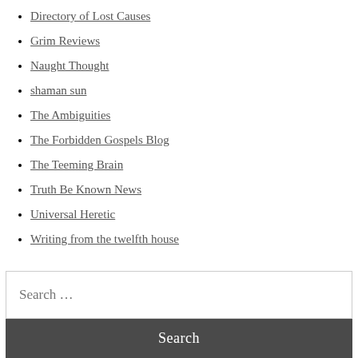Directory of Lost Causes
Grim Reviews
Naught Thought
shaman sun
The Ambiguities
The Forbidden Gospels Blog
The Teeming Brain
Truth Be Known News
Universal Heretic
Writing from the twelfth house